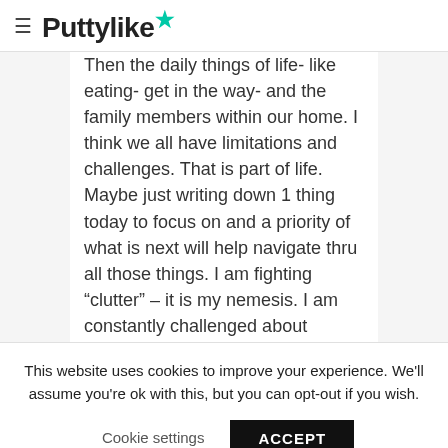≡ Puttylike★
Then the daily things of life- like eating- get in the way- and the family members within our home. I think we all have limitations and challenges. That is part of life. Maybe just writing down 1 thing today to focus on and a priority of what is next will help navigate thru all those things. I am fighting "clutter" – it is my nemesis. I am constantly challenged about starting a new project before cleaning up from
This website uses cookies to improve your experience. We'll assume you're ok with this, but you can opt-out if you wish.
Cookie settings   ACCEPT